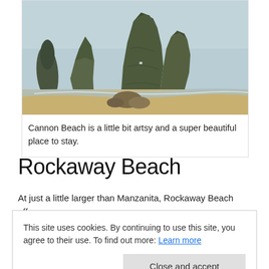[Figure (photo): Coastal photograph showing large moss-covered rock formations and sea stacks rising from a sandy beach with ocean waves. Overcast sky in the background.]
Cannon Beach is a little bit artsy and a super beautiful place to stay.
Rockaway Beach
At just a little larger than Manzanita, Rockaway Beach offers a
This site uses cookies. By continuing to use this site, you agree to their use. To find out more: Learn more
to explore right in Rockaway Beach. Hotel options include the